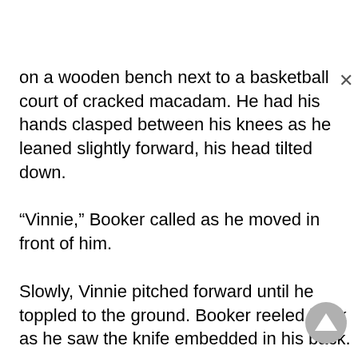on a wooden bench next to a basketball court of cracked macadam. He had his hands clasped between his knees as he leaned slightly forward, his head tilted down.
“Vinnie,” Booker called as he moved in front of him.
Slowly, Vinnie pitched forward until he toppled to the ground. Booker reeled back as he saw the knife embedded in his back.
“Don’t move,” someone shouted.